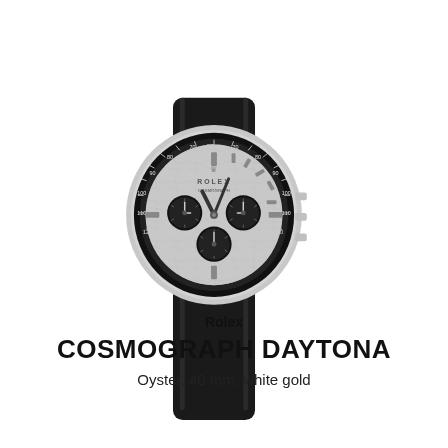[Figure (photo): Rolex Cosmograph Daytona watch with white gold case, meteorite dial with three black subdials, black ceramic bezel with tachymeter scale, and black rubber Oysterflex strap. The watch is photographed at a slight angle against a white background.]
Rolex
COSMOGRAPH DAYTONA
Oyster, 40 mm, white gold